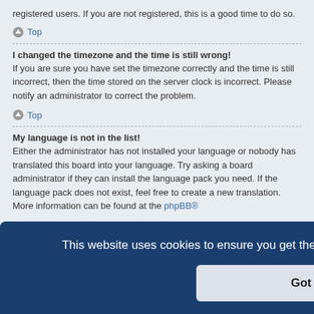registered users. If you are not registered, this is a good time to do so.
Top
I changed the timezone and the time is still wrong!
If you are sure you have set the timezone correctly and the time is still incorrect, then the time stored on the server clock is incorrect. Please notify an administrator to correct the problem.
Top
My language is not in the list!
Either the administrator has not installed your language or nobody has translated this board into your language. Try asking a board administrator if they can install the language pack you need. If the language pack does not exist, feel free to create a new translation. More information can be found at the phpBB®
[Figure (screenshot): Cookie consent banner overlay with text: 'This website uses cookies to ensure you get the best experience on our website. Learn more' and a 'Got it!' button]
viewing ... lly in the ... or your status on the board. Another, usually larger, image is known as an avatar and is generally unique or personal to each user.